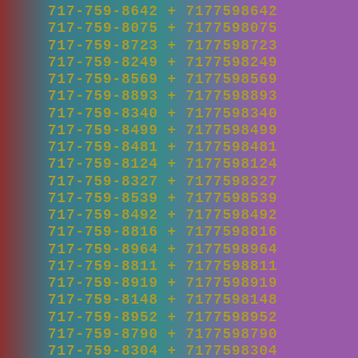717-759-8642 + 7177598642
717-759-8075 + 7177598075
717-759-8723 + 7177598723
717-759-8249 + 7177598249
717-759-8569 + 7177598569
717-759-8893 + 7177598893
717-759-8340 + 7177598340
717-759-8499 + 7177598499
717-759-8481 + 7177598481
717-759-8124 + 7177598124
717-759-8327 + 7177598327
717-759-8539 + 7177598539
717-759-8492 + 7177598492
717-759-8816 + 7177598816
717-759-8964 + 7177598964
717-759-8811 + 7177598811
717-759-8919 + 7177598919
717-759-8148 + 7177598148
717-759-8952 + 7177598952
717-759-8790 + 7177598790
717-759-8304 + 7177598304
717-759-8935 + 7177598935
717-759-8973 + 7177598973